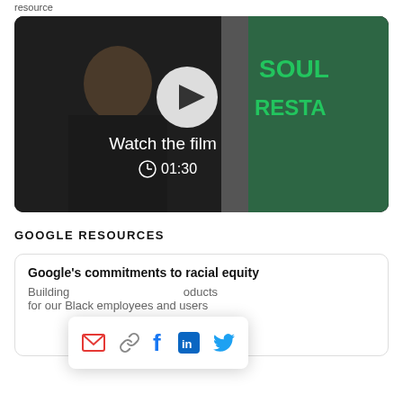resource
[Figure (photo): Video thumbnail showing a woman smiling in front of a green restaurant sign reading SOUL RESTA, with a YouTube play button overlay, text 'Watch the film' and duration '01:30']
GOOGLE RESOURCES
Google's commitments to racial equity
Building products for our Black employees and users